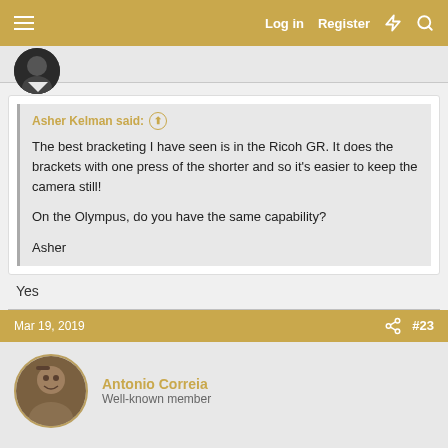Log in  Register
Asher Kelman said:
The best bracketing I have seen is in the Ricoh GR. It does the brackets with one press of the shorter and so it's easier to keep the camera still!

On the Olympus, do you have the same capability?

Asher
Yes
Mar 19, 2019  #23
Antonio Correia
Well-known member
Robert, the 4 photographs together have the settings.
The others appear in that order being the last one the DNG.